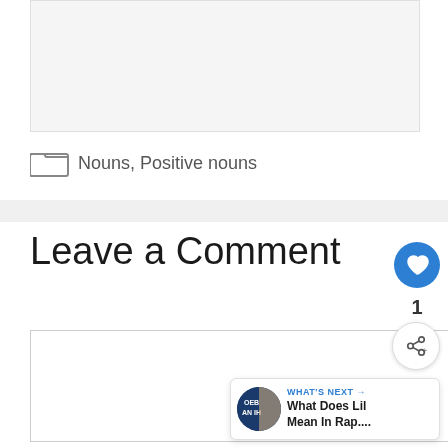[Figure (other): Gray advertisement placeholder box at top of page]
Nouns, Positive nouns
Leave a Comment
[Figure (other): Comment text input area box]
[Figure (other): Floating UI: heart/like button (blue circle with heart icon), count '1', share button, and WHAT'S NEXT card showing 'What Does Lil Mean In Rap....']